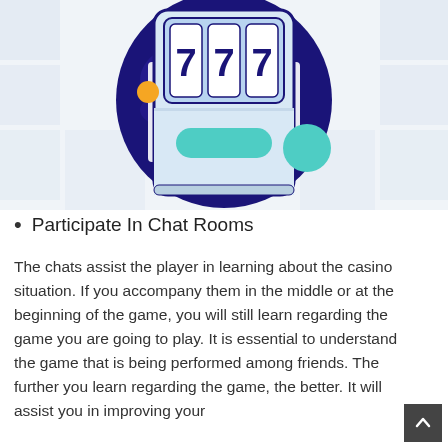[Figure (illustration): Slot machine illustration showing 777 on three reels, with a purple/dark blue circular background, a light blue slot machine body, a teal/green spin button, a small orange circle accent, and a teal circle accent on the right. Background has faded gray square tile pattern.]
Participate In Chat Rooms
The chats assist the player in learning about the casino situation. If you accompany them in the middle or at the beginning of the game, you will still learn regarding the game you are going to play. It is essential to understand the game that is being performed among friends. The further you learn regarding the game, the better. It will assist you in improving your